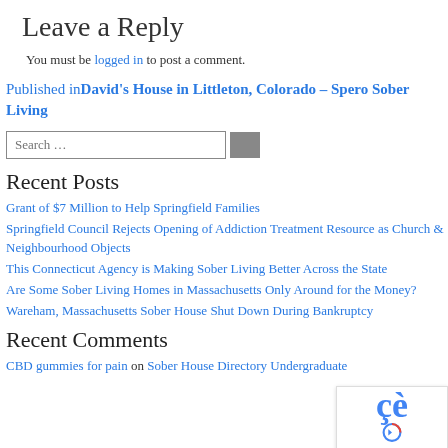Leave a Reply
You must be logged in to post a comment.
Published inDavid's House in Littleton, Colorado – Spero Sober Living
Search …
Recent Posts
Grant of $7 Million to Help Springfield Families
Springfield Council Rejects Opening of Addiction Treatment Resource as Church & Neighbourhood Objects
This Connecticut Agency is Making Sober Living Better Across the State
Are Some Sober Living Homes in Massachusetts Only Around for the Money?
Wareham, Massachusetts Sober House Shut Down During Bankruptcy
Recent Comments
CBD gummies for pain on Sober House Directory Undergraduate